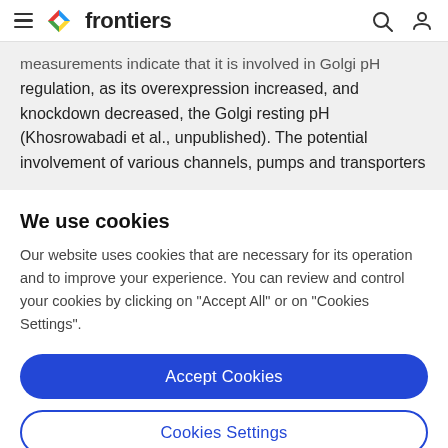frontiers
measurements indicate that it is involved in Golgi pH regulation, as its overexpression increased, and knockdown decreased, the Golgi resting pH (Khosrowabadi et al., unpublished). The potential involvement of various channels, pumps and transporters
We use cookies
Our website uses cookies that are necessary for its operation and to improve your experience. You can review and control your cookies by clicking on "Accept All" or on "Cookies Settings".
Accept Cookies
Cookies Settings